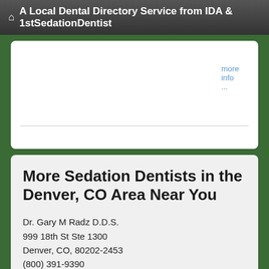A Local Dental Directory Service from IDA & 1stSedationDentist
more info ...
More Sedation Dentists in the Denver, CO Area Near You
Dr. Gary M Radz D.D.S.
999 18th St Ste 1300
Denver, CO, 80202-2453
(800) 391-9390
Dale, Eric D.D.S.
155 Cook St # 211
Denver, CO, 80206-5316
Doctor - Activate Your Free